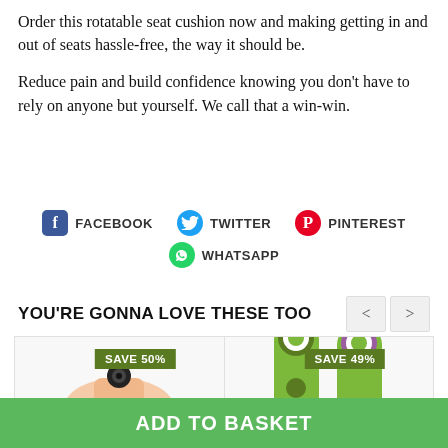Order this rotatable seat cushion now and making getting in and out of seats hassle-free, the way it should be.
Reduce pain and build confidence knowing you don't have to rely on anyone but yourself. We call that a win-win.
[Figure (infographic): Social sharing icons row: Facebook, Twitter, Pinterest, WhatsApp]
YOU'RE GONNA LOVE THESE TOO
[Figure (photo): Product card with SAVE 50% badge - hand holding a tiny camera]
[Figure (photo): Product card with SAVE 49% badge - two green key finders]
ADD TO BASKET